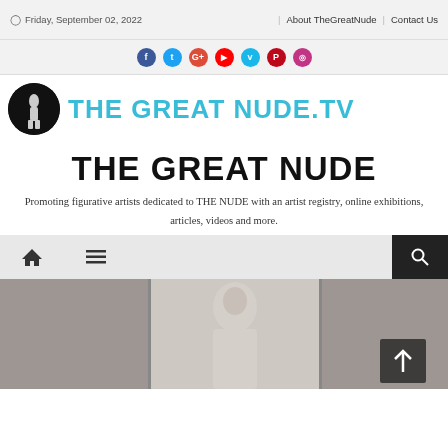Friday, September 02, 2022 | About TheGreatNude | Contact Us
[Figure (logo): Social media icons: Facebook, Twitter, Google+, YouTube, Vimeo, Pinterest, Instagram]
[Figure (logo): THE GREAT NUDE.TV logo with circular black emblem and cyan text]
THE GREAT NUDE
Promoting figurative artists dedicated to THE NUDE with an artist registry, online exhibitions, articles, videos and more.
[Figure (screenshot): Navigation bar with home icon, hamburger menu, and search button]
[Figure (photo): Partial photo of a figure, bottom portion visible, against grey background]